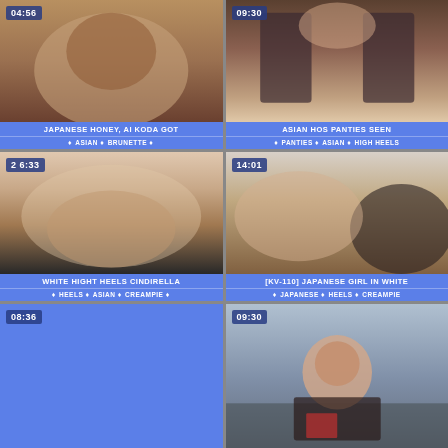[Figure (photo): Video thumbnail 04:56 - Japanese honey video]
JAPANESE HONEY, AI KODA GOT
♦ ASIAN ♦ BRUNETTE ♦
[Figure (photo): Video thumbnail 09:30 - Asian panties seen video]
ASIAN HOS PANTIES SEEN
♦ PANTIES ♦ ASIAN ♦ HIGH HEELS
[Figure (photo): Video thumbnail 26:33 - White high heels Cinderella]
WHITE HIGHT HEELS CINDIRELLA
♦ HEELS ♦ ASIAN ♦ CREAMPIE ♦
[Figure (photo): Video thumbnail 14:01 - KV-110 Japanese girl in white]
[KV-110] JAPANESE GIRL IN WHITE
♦ JAPANESE ♦ HEELS ♦ CREAMPIE
[Figure (photo): Video thumbnail 08:36 - blue placeholder]
[Figure (photo): Video thumbnail 09:30 - Asian woman squatting outdoors]